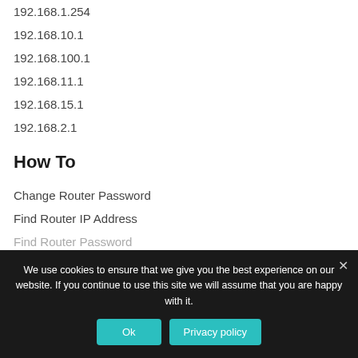192.168.1.254
192.168.10.1
192.168.100.1
192.168.11.1
192.168.15.1
192.168.2.1
How To
Change Router Password
Find Router IP Address
Find Router Password
We use cookies to ensure that we give you the best experience on our website. If you continue to use this site we will assume that you are happy with it.